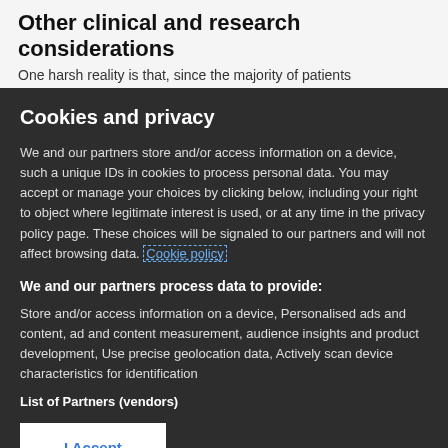Other clinical and research considerations
One harsh reality is that, since the majority of patients
Cookies and privacy
We and our partners store and/or access information on a device, such a unique IDs in cookies to process personal data. You may accept or manage your choices by clicking below, including your right to object where legitimate interest is used, or at any time in the privacy policy page. These choices will be signaled to our partners and will not affect browsing data. Cookie policy
We and our partners process data to provide:
Store and/or access information on a device, Personalised ads and content, ad and content measurement, audience insights and product development, Use precise geolocation data, Actively scan device characteristics for identification
List of Partners (vendors)
I Accept